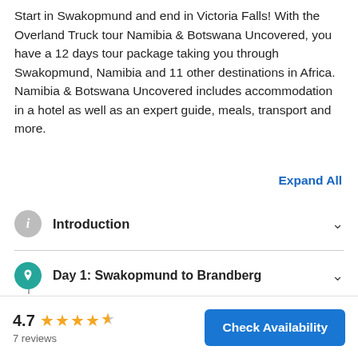Start in Swakopmund and end in Victoria Falls! With the Overland Truck tour Namibia & Botswana Uncovered, you have a 12 days tour package taking you through Swakopmund, Namibia and 11 other destinations in Africa. Namibia & Botswana Uncovered includes accommodation in a hotel as well as an expert guide, meals, transport and more.
Expand All
Introduction
Day 1: Swakopmund to Brandberg
Day 2: Brandberg White Lady rock painting
4.7  7 reviews
Check Availability